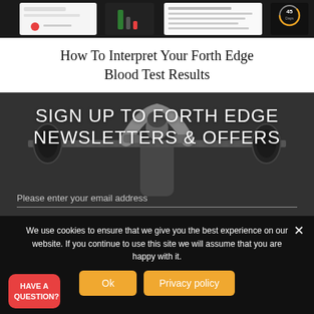[Figure (screenshot): Screenshot strip showing app interface panels with health metrics, graphs, and a circular indicator showing 45 Days]
How To Interpret Your Forth Edge Blood Test Results
[Figure (photo): Dark background photo of a person lifting a barbell overhead at a gym]
SIGN UP TO FORTH EDGE NEWSLETTERS & OFFERS
Please enter your email address
We use cookies to ensure that we give you the best experience on our website. If you continue to use this site we will assume that you are happy with it.
HAVE A QUESTION?
Ok
Privacy policy